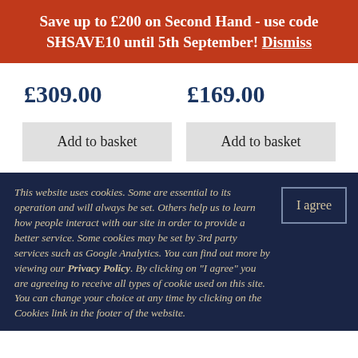Save up to £200 on Second Hand - use code SHSAVE10 until 5th September! Dismiss
£309.00
£169.00
Add to basket
Add to basket
This website uses cookies. Some are essential to its operation and will always be set. Others help us to learn how people interact with our site in order to provide a better service. Some cookies may be set by 3rd party services such as Google Analytics. You can find out more by viewing our Privacy Policy. By clicking on "I agree" you are agreeing to receive all types of cookie used on this site. You can change your choice at any time by clicking on the Cookies link in the footer of the website.
I agree